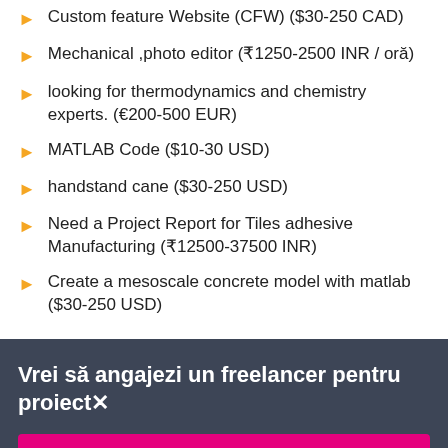Custom feature Website (CFW) ($30-250 CAD)
Mechanical ,photo editor (₹1250-2500 INR / oră)
looking for thermodynamics and chemistry experts. (€200-500 EUR)
MATLAB Code ($10-30 USD)
handstand cane ($30-250 USD)
Need a Project Report for Tiles adhesive Manufacturing (₹12500-37500 INR)
Create a mesoscale concrete model with matlab ($30-250 USD)
Vrei să angajezi un freelancer pentru proiect×
Postează un proiect